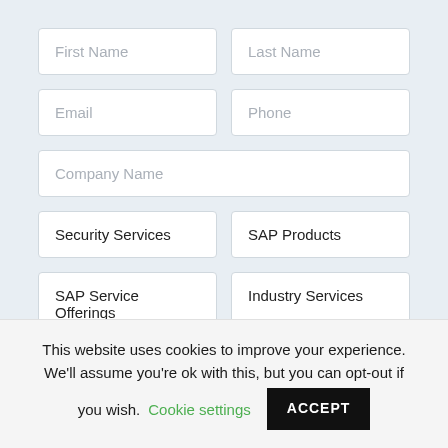[Figure (screenshot): Web form with input fields: First Name, Last Name, Email, Phone, Company Name, Security Services, SAP Products, SAP Service Offerings, Industry Services, Additional Details or Information]
This website uses cookies to improve your experience. We'll assume you're ok with this, but you can opt-out if you wish. Cookie settings ACCEPT